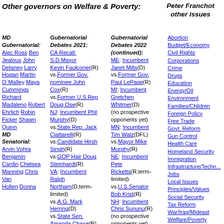Other governors on Welfare & Poverty:
Peter Franchot other issues
MD Gubernatorial: Alec Ross, Ben Jealous, John Delaney, Larry Hogan, Martin O`Malley, Maya Cummings, Richard Madaleno, Robert Ehrlich, Robin Ficker, Shawn Quinn, MD Senatorial: Arvin Vohra, Benjamin Cardin, Chelsea Manning, Chris Van Hollen, Donna...
Gubernatorial Debates 2021: CA Recall: S.D.Mayor Kevin Faulconer(R) vs.Former Gov. nominee John Cox(R) vs.Former U.S.Rep Doug Ose(R) NJ: Incumbent Phil Murphy(D) vs.State Rep. Jack Ciattarelli(R) vs.Candidate Hirsh Singh(R) vs.GOP Hair Doug Steinhardt(R) VA: Incumbent Ralph Northam(D,term-limited) vs.A.G. Mark Herring(D) vs.State Sen. Amanda Chase(R) vs.Lt. Gov. Justin
Gubernatorial Debates 2022 (continued): ME: Incumbent Janet Mills(D) vs.Former Gov. Paul LePage(R) MI: Incumbent Gretchen Whitmer(D) (no prospective opponents yet) MN: Incumbent Tim Walz(DFL) vs.Mayor Mike Murphy(R) NE: Incumbent Pete Ricketts(R,term-limited) vs.U.S.Senator Bob Krist(R) NH: Incumbent Chris Sununu(R) (no prospective opponents yet) NM: Incumbent
Abortion, Budget/Economy, Civil Rights, Corporations, Crime, Drugs, Education, Energy/Oil, Environment, Families/Children, Foreign Policy, Free Trade, Govt. Reform, Gun Control, Health Care, Homeland Security, Immigration, Infrastructure/Techn..., Jobs, Local Issues, Principles/Values, Social Security, Tax Reform, War/Iraq/Mideast, Welfare/Poverty